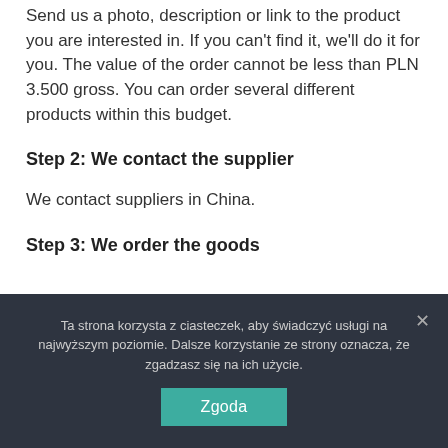Send us a photo, description or link to the product you are interested in. If you can't find it, we'll do it for you. The value of the order cannot be less than PLN 3.500 gross. You can order several different products within this budget.
Step 2: We contact the supplier
We contact suppliers in China.
Step 3: We order the goods
Ta strona korzysta z ciasteczek, aby świadczyć usługi na najwyższym poziomie. Dalsze korzystanie ze strony oznacza, że zgadzasz się na ich użycie.